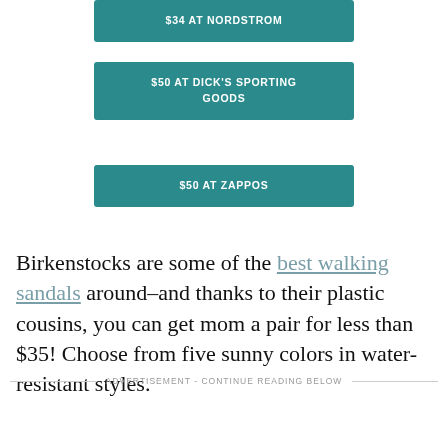$34 AT NORDSTROM
$50 AT DICK'S SPORTING GOODS
$50 AT ZAPPOS
Birkenstocks are some of the best walking sandals around–and thanks to their plastic cousins, you can get mom a pair for less than $35! Choose from five sunny colors in water-resistant styles.
ADVERTISEMENT - CONTINUE READING BELOW